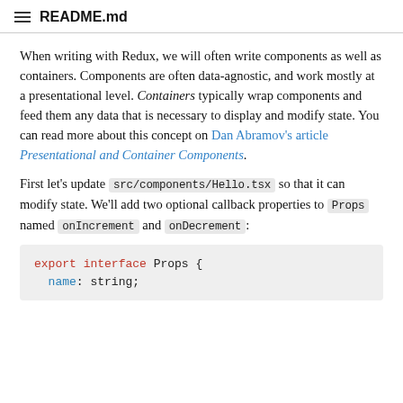README.md
When writing with Redux, we will often write components as well as containers. Components are often data-agnostic, and work mostly at a presentational level. Containers typically wrap components and feed them any data that is necessary to display and modify state. You can read more about this concept on Dan Abramov's article Presentational and Container Components.
First let's update src/components/Hello.tsx so that it can modify state. We'll add two optional callback properties to Props named onIncrement and onDecrement:
export interface Props {
  name: string;